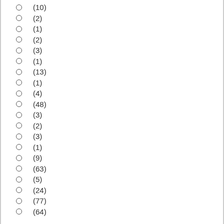(10)
(2)
(1)
(2)
(3)
(1)
(13)
(1)
(4)
(48)
(3)
(2)
(3)
(1)
(9)
(63)
(5)
(24)
(77)
(64)